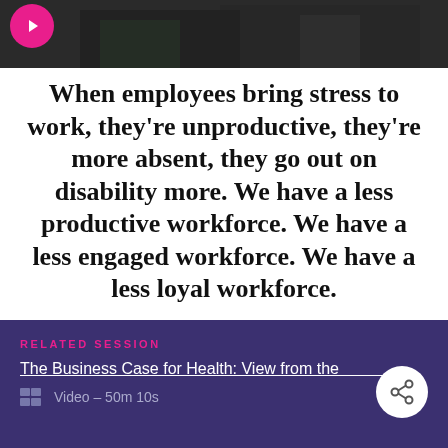[Figure (photo): Dark background image of people seated, partially visible at top of page with a pink play button circle in the upper left]
When employees bring stress to work, they're unproductive, they're more absent, they go out on disability more. We have a less productive workforce. We have a less engaged workforce. We have a less loyal workforce.
— Jamie Kalamarides
RELATED SESSION
The Business Case for Health: View from the
Video – 50m 10s